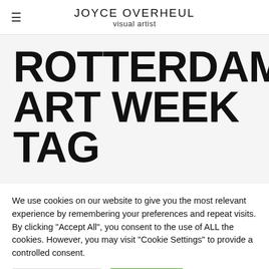JOYCE OVERHEUL
visual artist
ROTTERDAM ART WEEK TAG
We use cookies on our website to give you the most relevant experience by remembering your preferences and repeat visits. By clicking "Accept All", you consent to the use of ALL the cookies. However, you may visit "Cookie Settings" to provide a controlled consent.